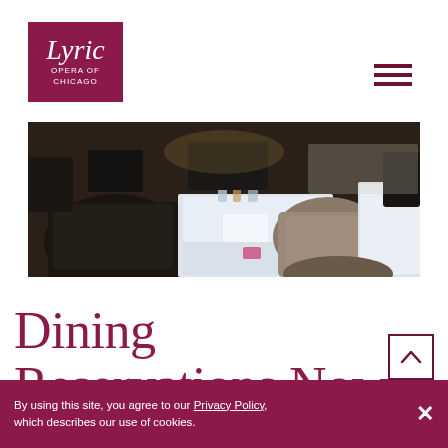[Figure (logo): Lyric Opera of Chicago logo — white italic serif 'Lyric' over 'OPERA OF CHICAGO' on dark maroon/crimson square background]
[Figure (photo): Interior restaurant photo showing diners seated at white-tablecloth tables, backs of heads visible, warm ambient lighting]
Dining Reservations Now Available
By using this site, you agree to our Privacy Policy, which describes our use of cookies.